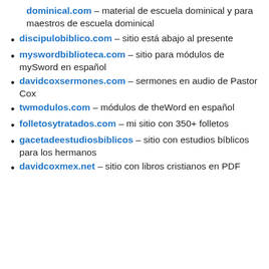dominical.com – material de escuela dominical y para maestros de escuela dominical
discipulobiblico.com – sitio está abajo al presente
myswordbiblioteca.com – sitio para módulos de mySword en español
davidcoxsermones.com – sermones en audio de Pastor Cox
twmodulos.com – módulos de theWord en español
folletosytratados.com – mi sitio con 350+ folletos
gacetadeestudiosbiblicos – sitio con estudios bíblicos para los hermanos
davidcoxmex.net – sitio con libros cristianos en PDF